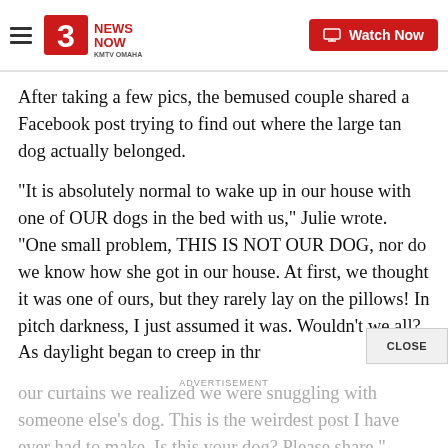3 News Now KMTV Omaha — Watch Now
After taking a few pics, the bemused couple shared a Facebook post trying to find out where the large tan dog actually belonged.
“It is absolutely normal to wake up in our house with one of OUR dogs in the bed with us,” Julie wrote. “One small problem, THIS IS NOT OUR DOG, nor do we know how she got in our house. At first, we thought it was one of ours, but they rarely lay on the pillows! In pitch darkness, I just assumed it was. Wouldn’t we all? As daylight began to creep in thr our curtains we realized we were snuggling with someone else’s dog. This is the weirdest post I have ever had to make. Is this your dog? Please share.”